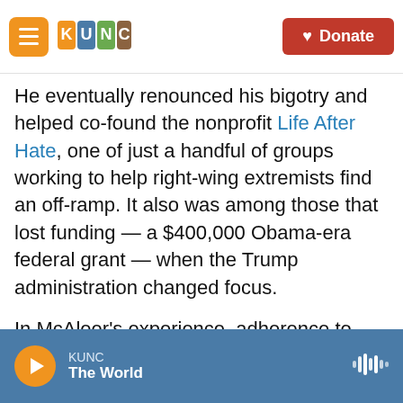KUNC header with hamburger menu, KUNC logo, and Donate button
He eventually renounced his bigotry and helped co-found the nonprofit Life After Hate, one of just a handful of groups working to help right-wing extremists find an off-ramp. It also was among those that lost funding — a $400,000 Obama-era federal grant — when the Trump administration changed focus.
In McAleer's experience, adherence to racist beliefs — whether as part of a group or as a lone wolf like the synagogue suspect — is more often sparked by a flawed search for identity and purpose than by a deeply held belief.
KUNC — The World (audio player bar)